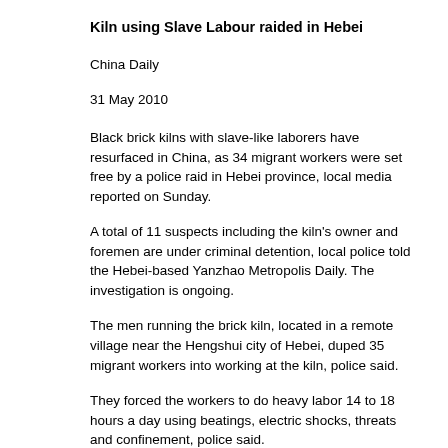Kiln using Slave Labour raided in Hebei
China Daily
31 May 2010
Black brick kilns with slave-like laborers have resurfaced in China, as 34 migrant workers were set free by a police raid in Hebei province, local media reported on Sunday.
A total of 11 suspects including the kiln's owner and foremen are under criminal detention, local police told the Hebei-based Yanzhao Metropolis Daily. The investigation is ongoing.
The men running the brick kiln, located in a remote village near the Hengshui city of Hebei, duped 35 migrant workers into working at the kiln, police said.
They forced the workers to do heavy labor 14 to 18 hours a day using beatings, electric shocks, threats and confinement, police said.
A migrant worker surnamed Song had to work 18 hours every day, and was beaten and shocked with electricity